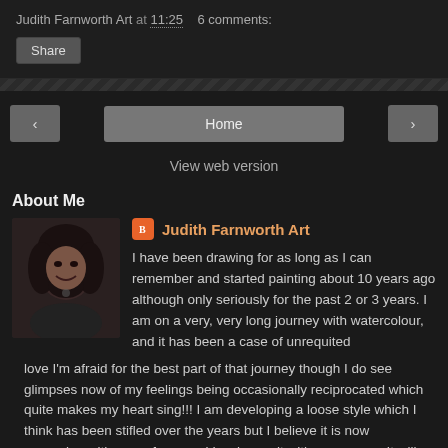Judith Farnworth Art at 11:25   6 comments:
Share
‹   Home   ›   View web version
About Me
Judith Farnworth Art
I have been drawing for as long as I can remember and started painting about 10 years ago although only seriously for the past 2 or 3 years. I am on a very, very long journey with watercolour, and it has been a case of unrequited love I'm afraid for the best part of that journey though I do see glimpses now of my feelings being occasionally reciprocated which quite makes my heart sing!!! I am developing a loose style which I think has been stifled over the years but I believe it is now appearing with some force and I welcome it with open arms. It will be a treat for me to see where it takes me!
[Figure (photo): Profile photo of Judith Farnworth Art - woman with dark hair smiling]